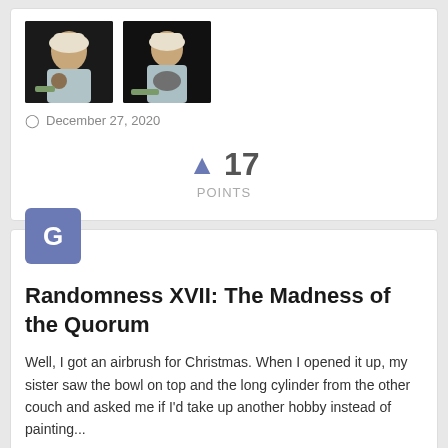[Figure (photo): Two painted miniature figurines of a cook/gnome character, photographed against a dark background]
December 27, 2020
17 POINTS
[Figure (illustration): Avatar icon with letter G on blue/purple rounded square background]
Randomness XVII: The Madness of the Quorum
Well, I got an airbrush for Christmas. When I opened it up, my sister saw the bowl on top and the long cylinder from the other couch and asked me if I'd take up another hobby instead of painting...